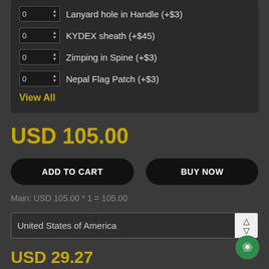0  Lanyard hole in Handle (+$3)
0  KYDEX sheath (+$45)
0  Zimping in Spine (+$3)
0  Nepal Flag Patch (+$3)
View All
USD 105.00
ADD TO CART
BUY NOW
Main: USD 105.00 * 1 = 105.00
United States of America
USD 29.27